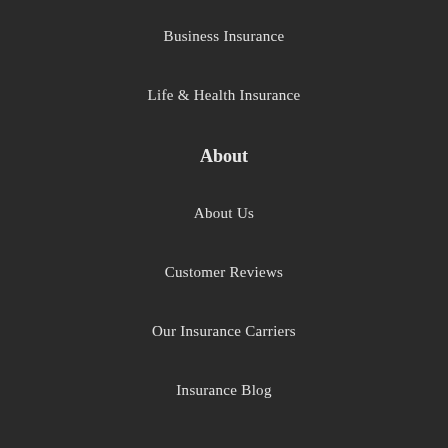Business Insurance
Life & Health Insurance
About
About Us
Customer Reviews
Our Insurance Carriers
Insurance Blog